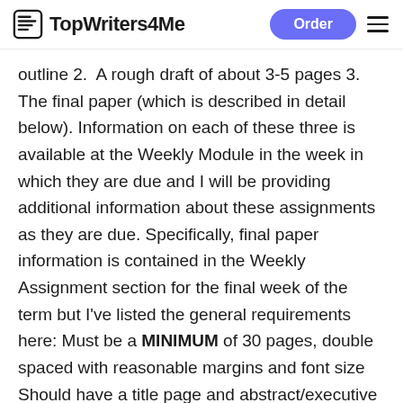TopWriters4Me
outline 2.  A rough draft of about 3-5 pages 3.  The final paper (which is described in detail below). Information on each of these three is available at the Weekly Module in the week in which they are due and I will be providing additional information about these assignments as they are due. Specifically, final paper information is contained in the Weekly Assignment section for the final week of the term but I've listed the general requirements here: Must be a MINIMUM of 30 pages, double spaced with reasonable margins and font size Should have a title page and abstract/executive summary and references/bibliography page(s) Images (such as photos and graphs, etc.) are okay for use within the